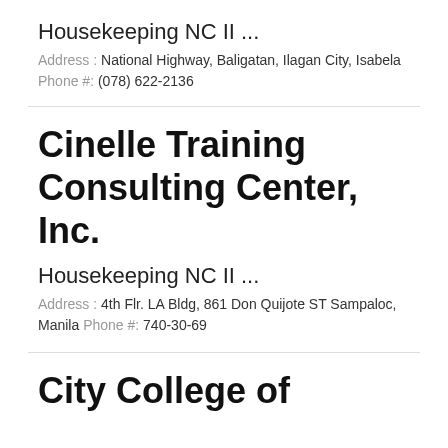Housekeeping NC II ...
Address : National Highway, Baligatan, Ilagan City, Isabela Phone #: (078) 622-2136
Cinelle Training Consulting Center, Inc.
Housekeeping NC II ...
Address : 4th Flr. LA Bldg, 861 Don Quijote ST Sampaloc, Manila Phone #: 740-30-69
City College of